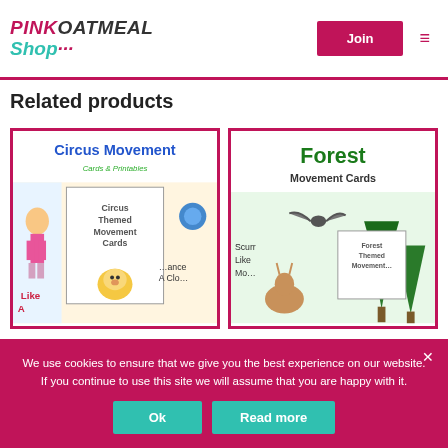PINK OATMEAL Shop — Join
Related products
[Figure (photo): Circus Movement Cards & Printables product thumbnail showing colorful circus-themed movement cards with a lion and cartoon characters]
[Figure (photo): Forest Movement Cards product thumbnail showing forest-themed movement cards with trees, a bat, and forest animals]
We use cookies to ensure that we give you the best experience on our website. If you continue to use this site we will assume that you are happy with it.